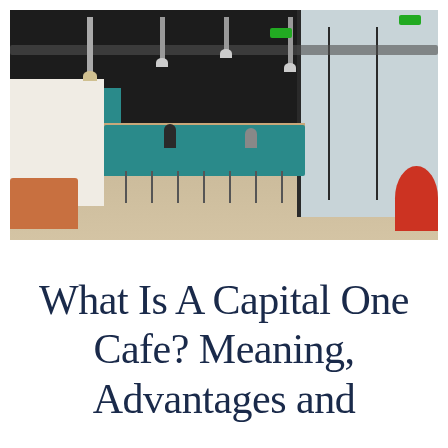[Figure (photo): Interior photo of a Capital One Cafe showing a modern open space with dark exposed ceiling, pendant lights, teal bar/counter area with bar stools, a tan leather sofa on the left, large windows on the right, and a red woven chair on the far right. Two people are visible seated at the bar.]
What Is A Capital One Cafe? Meaning, Advantages and